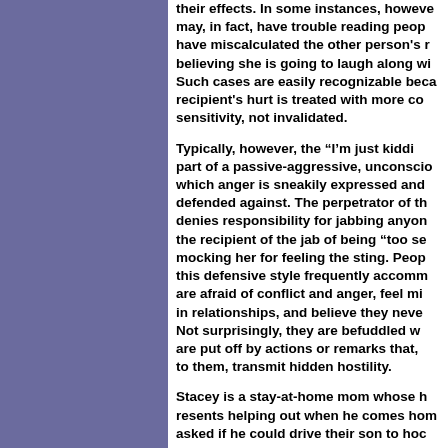their effects. In some instances, however, may, in fact, have trouble reading peop have miscalculated the other person's r believing she is going to laugh along wi Such cases are easily recognizable beca recipient's hurt is treated with more co sensitivity, not invalidated.
Typically, however, the "I'm just kiddi part of a passive-aggressive, unconscio which anger is sneakily expressed and defended against. The perpetrator of th denies responsibility for jabbing anyon the recipient of the jab of being "too se mocking her for feeling the sting. Peop this defensive style frequently accomm are afraid of conflict and anger, feel mi in relationships, and believe they neve Not surprisingly, they are befuddled w are put off by actions or remarks that, to them, transmit hidden hostility.
Stacey is a stay-at-home mom whose h resents helping out when he comes hom asked if he could drive their son to hoc